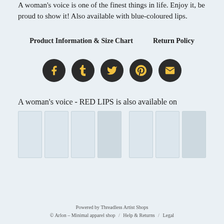A woman's voice is one of the finest things in life. Enjoy it, be proud to show it! Also available with blue-coloured lips.
Product Information & Size Chart    Return Policy
[Figure (infographic): Five dark circular social media share icons in a row: Facebook (f), Tumblr (t), Twitter (bird), Pinterest (P), Email (envelope). Icons have yellow/gold symbols on dark background.]
A woman's voice - RED LIPS is also available on
[Figure (photo): A row of product thumbnail images (apparel) in light blue-grey boxes, split into two groups with a gap.]
Powered by Threadless Artist Shops
© Arlon – Minimal apparel shop  /  Help & Returns  /  Legal